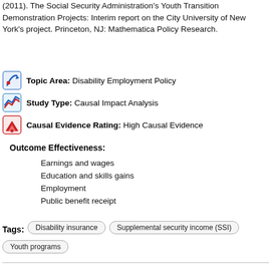(2011). The Social Security Administration's Youth Transition Demonstration Projects: Interim report on the City University of New York's project. Princeton, NJ: Mathematica Policy Research.
Topic Area: Disability Employment Policy
Study Type: Causal Impact Analysis
Causal Evidence Rating: High Causal Evidence
Outcome Effectiveness:
Earnings and wages
Education and skills gains
Employment
Public benefit receipt
Tags: Disability insurance   Supplemental security income (SSI)   Youth programs